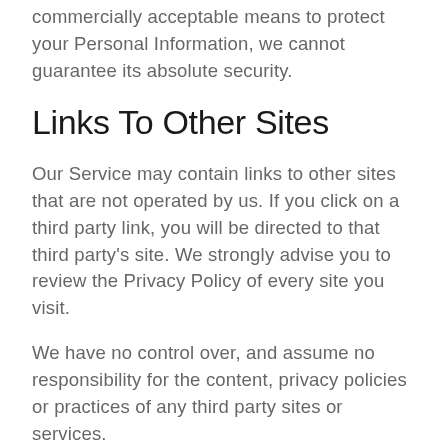commercially acceptable means to protect your Personal Information, we cannot guarantee its absolute security.
Links To Other Sites
Our Service may contain links to other sites that are not operated by us. If you click on a third party link, you will be directed to that third party's site. We strongly advise you to review the Privacy Policy of every site you visit.
We have no control over, and assume no responsibility for the content, privacy policies or practices of any third party sites or services.
Children's P